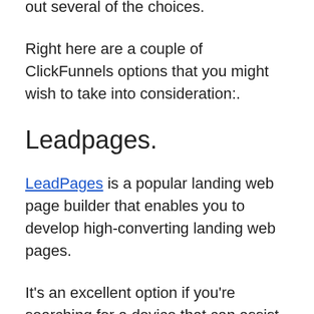if you're uncertain if ClickFunnels is right for you, after that I recommend you check out several of the choices.
Right here are a couple of ClickFunnels options that you might wish to take into consideration:.
Leadpages.
LeadPages is a popular landing web page builder that enables you to develop high-converting landing web pages.
It's an excellent option if you're searching for a device that can assist you enhance your